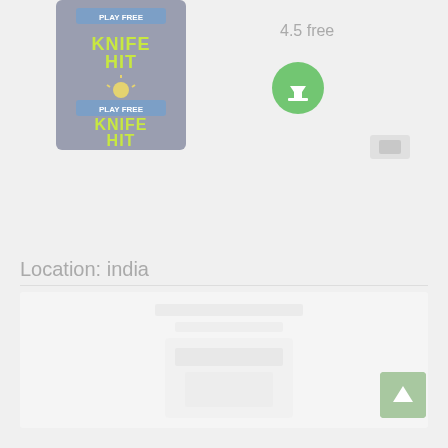[Figure (screenshot): App icon for Knife Hit game showing the game title text on a dark grey background with decorative elements, repeated twice with 'PLAY FREE' banners]
4.5 free
[Figure (illustration): Green circular download button with white downward arrow icon]
[Figure (illustration): Small grey share button]
Location: india
[Figure (screenshot): Bottom card showing a blurred/faded game or app screenshot with light content on white background]